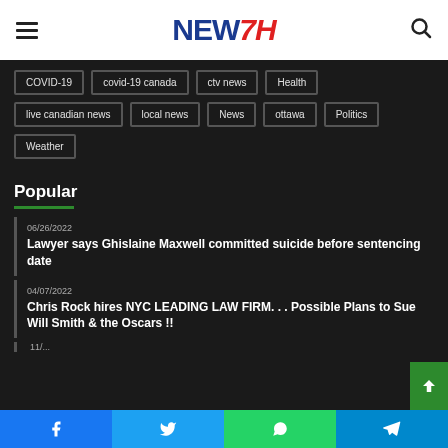NEW7H
COVID-19
covid-19 canada
ctv news
Health
live canadian news
local news
News
ottawa
Politics
Weather
Popular
06/26/2022
Lawyer says Ghislaine Maxwell committed suicide before sentencing date
04/07/2022
Chris Rock hires NYC LEADING LAW FIRM. . . Possible Plans to Sue Will Smith & the Oscars !!